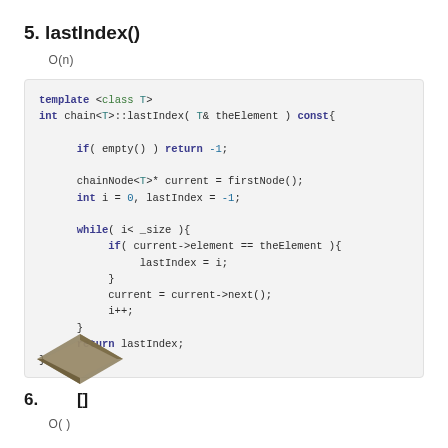5. lastIndex()
O(n) のコードを記述します
[Figure (screenshot): C++ code block showing template <class T> int chain<T>::lastIndex function implementation with while loop]
6. 　　[]
O( ) のコードを記述します